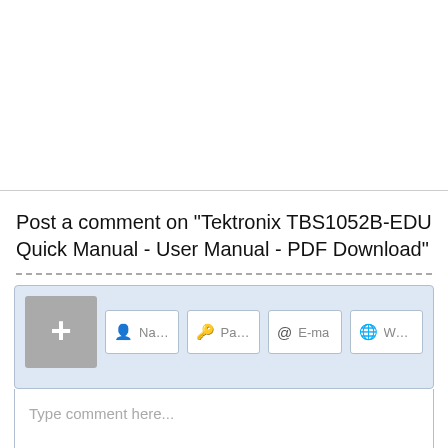Post a comment on "Tektronix TBS1052B-EDU Quick Manual - User Manual - PDF Download"
[Figure (screenshot): Comment form UI with avatar placeholder, Name/Password/E-mail/Website input fields, comment text area with placeholder 'Type comment here...', and a footer bar with a blue checkbox 'Notify me of replies' and pencil icon 'Formatting']